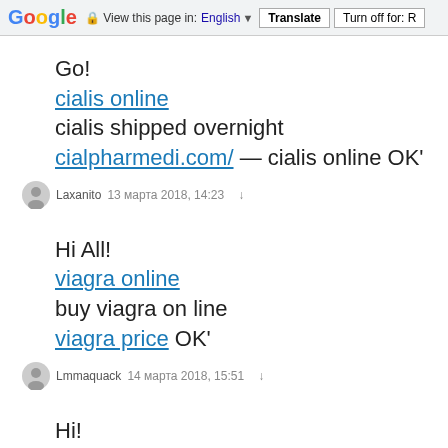Google  View this page in: English ▼  Translate  Turn off for: R
Go!
cialis online
cialis shipped overnight
cialpharmedi.com/ — cialis online OK'
Laxanito  13 марта 2018, 14:23
Hi All!
viagra online
buy viagra on line
viagra price OK'
Lmmaquack  14 марта 2018, 15:51
Hi!
cheap viagra
viagra best price
buy viagra OK'
KmsTheom  14 марта 2018, 16:47